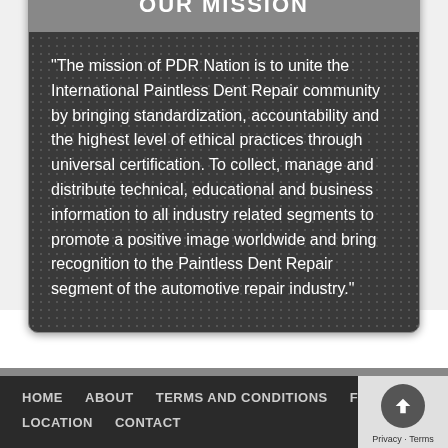OUR MISSION
"The mission of PDR Nation is to unite the International Paintless Dent Repair community by bringing standardization, accountability and the highest level of ethical practices through universal certification. To collect, manage and distribute technical, educational and business information to all industry related segments to promote a positive image worldwide and bring recognition to the Paintless Dent Repair segment of the automotive repair industry."
HOME   ABOUT   TERMS AND CONDITIONS   FAQS   LOCATIONS   CONTACT